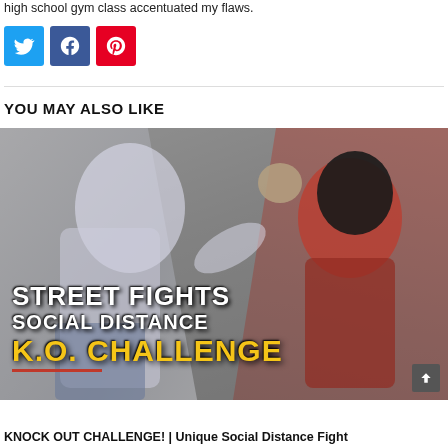high school gym class accentuated my flaws.
[Figure (other): Social media share buttons: Twitter (blue), Facebook (dark blue), Pinterest (red)]
YOU MAY ALSO LIKE
[Figure (photo): Two fighters in a sparring photo. One fighter wearing white hoodie throws a kick while the other in red camo and boxing headgear is in defensive stance. Text overlay reads: STREET FIGHTS SOCIAL DISTANCE K.O. CHALLENGE]
KNOCK OUT CHALLENGE! | Unique Social Distance Fight